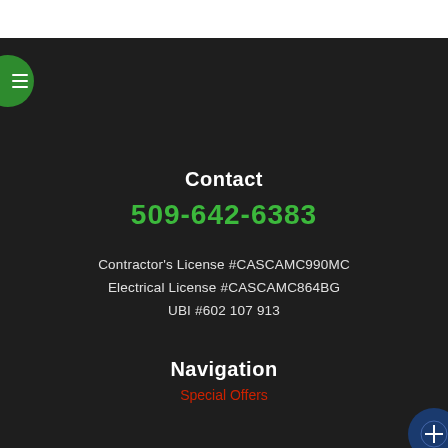Contact
509-642-6383
Contractor's License #CASCAMC990MC
Electrical License #CASCAMC864BG
UBI #602 107 913
Navigation
Special Offers